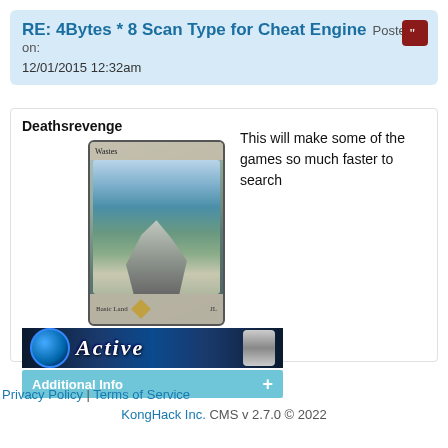RE: 4Bytes * 8 Scan Type for Cheat Engine Posted on: 12/01/2015 12:32am
Deathsrevenge
[Figure (screenshot): A Magic: The Gathering card named 'Wastes' showing a fantasy landscape with rocky formations and an Active user banner below it, plus an Additional Info bar.]
This will make some of the games so much faster to search
Privacy Policy | Terms of Service KongHack Inc. CMS v 2.7.0 © 2022